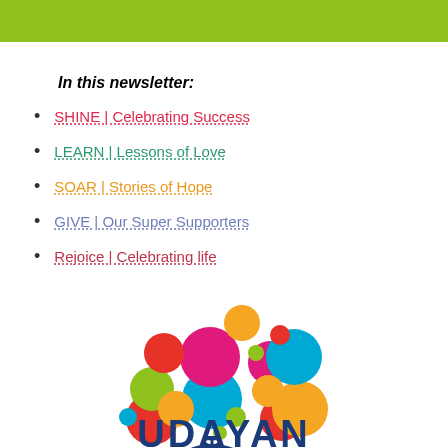In this newsletter:
SHINE | Celebrating Success
LEARN | Lessons of Love
SOAR | Stories of Hope
GIVE | Our Super Supporters
Rejoice | Celebrating life
[Figure (logo): UDAYAN organization logo with colorful circles arranged in a tree pattern above the text UDAYAN in dark navy bold letters]